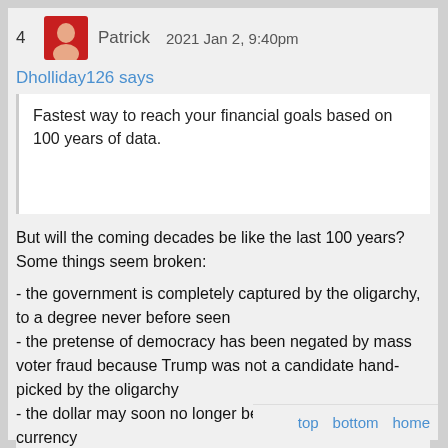4   Patrick   2021 Jan 2, 9:40pm
Dholliday126 says
Fastest way to reach your financial goals based on 100 years of data.
But will the coming decades be like the last 100 years? Some things seem broken:
- the government is completely captured by the oligarchy, to a degree never before seen
- the pretense of democracy has been negated by mass voter fraud because Trump was not a candidate hand-picked by the oligarchy
- the dollar may soon no longer be the world reserve currency
- almost all US manufacturing has been outsourced, so the US makes nothing and is profoundly dependent on
- mainstream media revenue was gutted by Fa
top   bottom   home